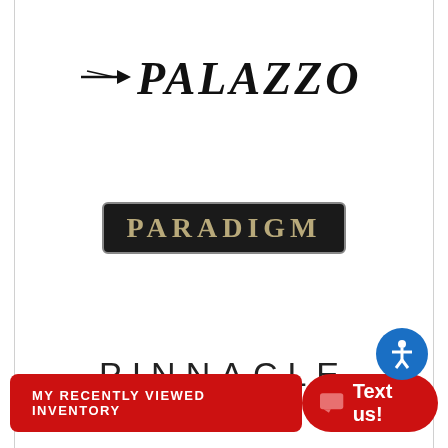[Figure (logo): Palazzo RV brand logo — italic serif font with arrow accent, black text]
[Figure (logo): Paradigm brand logo — gold/tan uppercase serif text on dark rounded rectangle badge]
[Figure (logo): Pinnacle brand logo — thin uppercase sans-serif text, wide letter-spacing, dark color]
[Figure (logo): Precept brand logo — partially visible bold uppercase text with underline, cropped at bottom]
MY RECENTLY VIEWED INVENTORY
Text us!